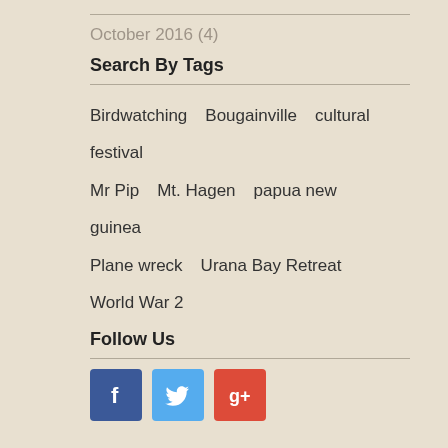October 2016 (4)
Search By Tags
Birdwatching   Bougainville   cultural festival   Mr Pip   Mt. Hagen   papua new guinea   Plane wreck   Urana Bay Retreat   World War 2
Follow Us
[Figure (infographic): Three social media icon buttons: Facebook (blue with 'f'), Twitter (light blue with bird), Google+ (red with 'g+')]